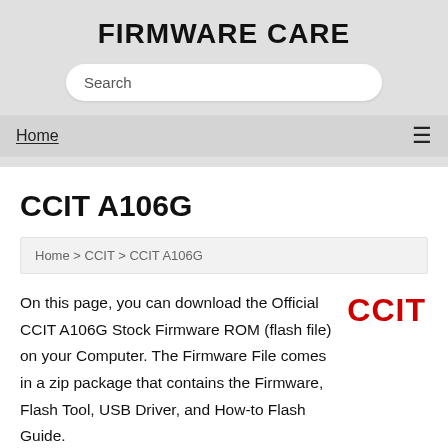FIRMWARE CARE
Search
Home  ≡
CCIT A106G
Home > CCIT > CCIT A106G
On this page, you can download the Official CCIT A106G Stock Firmware ROM (flash file) on your Computer. The Firmware File comes in a zip package that contains the Firmware, Flash Tool, USB Driver, and How-to Flash Guide.
[Figure (logo): CCIT brand logo in bold red text]